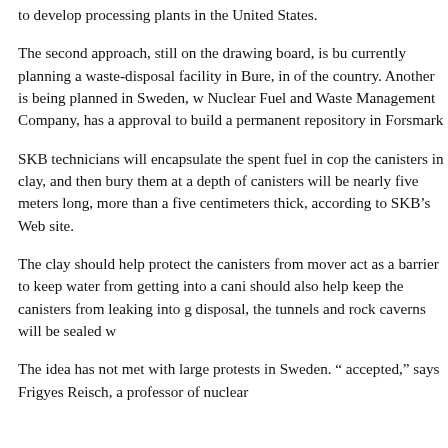to develop processing plants in the United States.
The second approach, still on the drawing board, is bu currently planning a waste-disposal facility in Bure, in of the country. Another is being planned in Sweden, w Nuclear Fuel and Waste Management Company, has a approval to build a permanent repository in Forsmark
SKB technicians will encapsulate the spent fuel in cop the canisters in clay, and then bury them at a depth of canisters will be nearly five meters long, more than a five centimeters thick, according to SKB's Web site.
The clay should help protect the canisters from mover act as a barrier to keep water from getting into a cani should also help keep the canisters from leaking into g disposal, the tunnels and rock caverns will be sealed w
The idea has not met with large protests in Sweden. “ accepted,” says Frigyes Reisch, a professor of nuclear